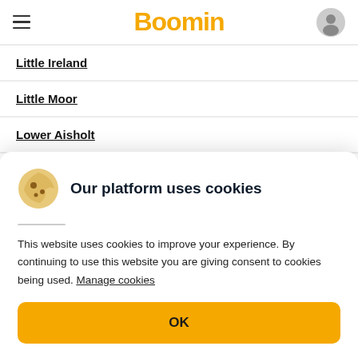Boomin
Little Ireland
Little Moor
Lower Aisholt
Lower Merridge
Lower Weare
Our platform uses cookies
This website uses cookies to improve your experience. By continuing to use this website you are giving consent to cookies being used. Manage cookies
OK